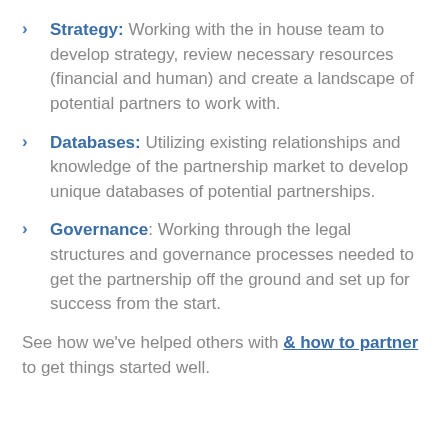Strategy: Working with the in house team to develop strategy, review necessary resources (financial and human) and create a landscape of potential partners to work with.
Databases: Utilizing existing relationships and knowledge of the partnership market to develop unique databases of potential partnerships.
Governance: Working through the legal structures and governance processes needed to get the partnership off the ground and set up for success from the start.
See how we've helped others with & how to partner to get things started well.